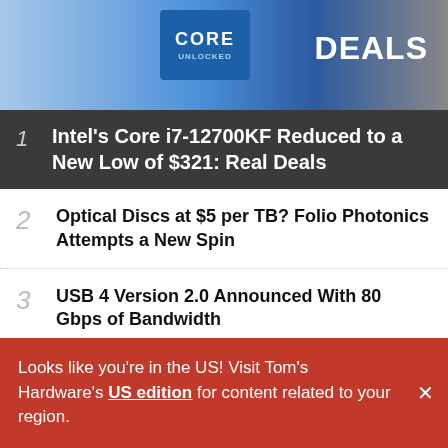[Figure (screenshot): Top banner image showing PC hardware fan/cooler, Intel Core processor badge, and 'DEALS' text on blue/grey background]
1 Intel's Core i7-12700KF Reduced to a New Low of $321: Real Deals
2 Optical Discs at $5 per TB? Folio Photonics Attempts a New Spin
3 USB 4 Version 2.0 Announced With 80 Gbps of Bandwidth
4 Best Gaming Laptops of 2022
Looks like you're in the US! Visit Tom's Hardware's US edition for content related to your region.